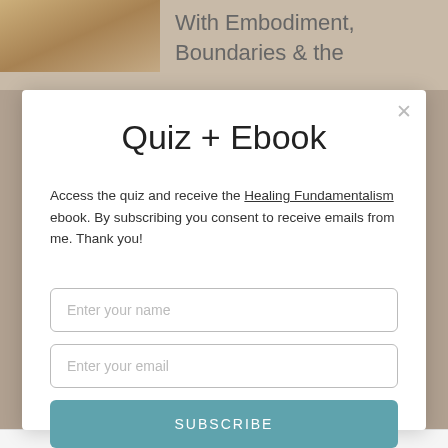[Figure (photo): Partial background showing a photo of a person or animal on the left, and partial text reading 'With Embodiment, Boundaries & the' on the right, visible behind a modal dialog overlay.]
Quiz + Ebook
Access the quiz and receive the Healing Fundamentalism ebook. By subscribing you consent to receive emails from me. Thank you!